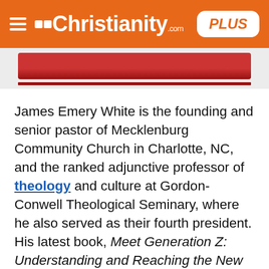Christianity.com PLUS
[Figure (photo): Partial book cover image with red bar and red underline, partially visible at top]
James Emery White is the founding and senior pastor of Mecklenburg Community Church in Charlotte, NC, and the ranked adjunctive professor of theology and culture at Gordon-Conwell Theological Seminary, where he also served as their fourth president. His latest book, Meet Generation Z: Understanding and Reaching the New Post-Christian World, is available on Amazon. To enjoy a free subscription to